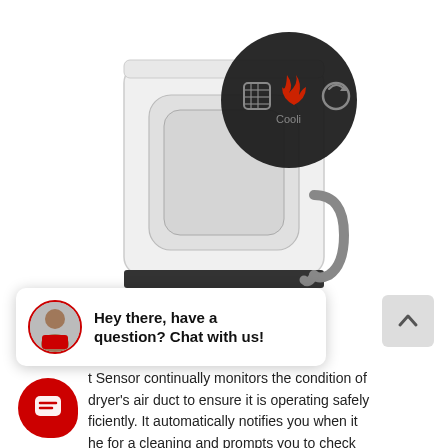[Figure (photo): White Samsung dryer appliance with a dark circular zoom-in overlay showing control panel icons (grid, flame/heat, and another icon) and the text 'Cooli' visible, with a vent hose at the back.]
[Figure (screenshot): Live chat widget popup with an avatar photo of a male customer service representative, bold text 'Hey there, have a question? Chat with us!' and a close (X) button. To the right is a gray scroll-to-top arrow button.]
t Sensor continually monitors the condition of dryer's air duct to ensure it is operating safely ficiently. It automatically notifies you when it he for a cleaning and prompts you to check for obstructions, so you can always maintain